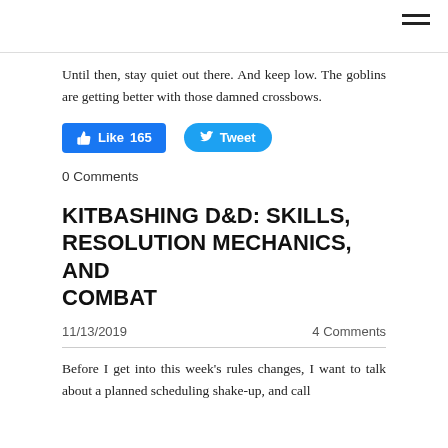Until then, stay quiet out there. And keep low. The goblins are getting better with those damned crossbows.
[Figure (other): Facebook Like button showing 165 likes and Twitter Tweet button]
0 Comments
KITBASHING D&D: SKILLS, RESOLUTION MECHANICS, AND COMBAT
11/13/2019    4 Comments
Before I get into this week's rules changes, I want to talk about a planned scheduling shake-up, and call